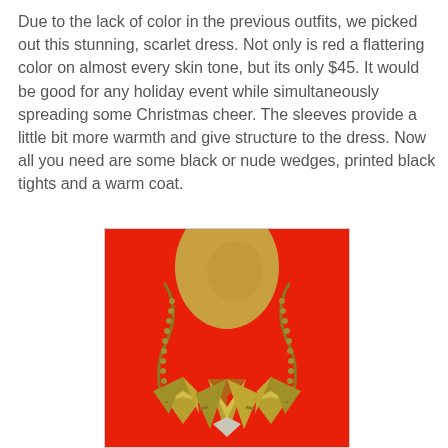Due to the lack of color in the previous outfits, we picked out this stunning, scarlet dress. Not only is red a flattering color on almost every skin tone, but its only $45. It would be good for any holiday event while simultaneously spreading some Christmas cheer. The sleeves provide a little bit more warmth and give structure to the dress. Now all you need are some black or nude wedges, printed black tights and a warm coat.
[Figure (photo): Close-up photo of a person wearing a scarlet/red dress with a bold geometric gold/bronze spike necklace with angular star-shaped pendants on a chain. The necklace features three large angular metallic pieces. The background shows a bright red fabric of the dress.]